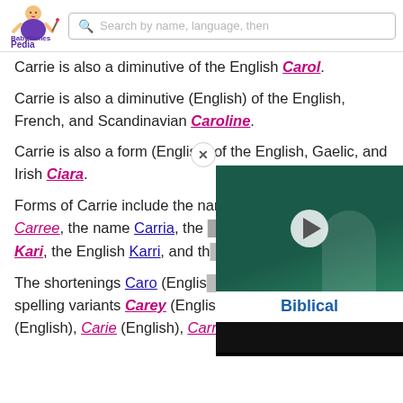BabyNamesPedia [logo] Search by name, language, then
Carrie is also a diminutive of the English Carol.
Carrie is also a diminutive (English) of the English, French, and Scandinavian Caroline.
Carrie is also a form (English) of the English, Gaelic, and Irish Ciara.
Forms of Carrie include the name Caree, the name Carree, the name Carria, the [obscured] Kari, the English Karri, and th[obscured]
The shortenings Caro (English [obscured] spelling variants Carey (English and Irish), Cari (English), Carie (English), Carrey (English), Carri
[Figure (screenshot): Video overlay showing a dark/teal background with a white play button and 'Biblical' label at the bottom, with a close (X) button in top-right corner of overlay]